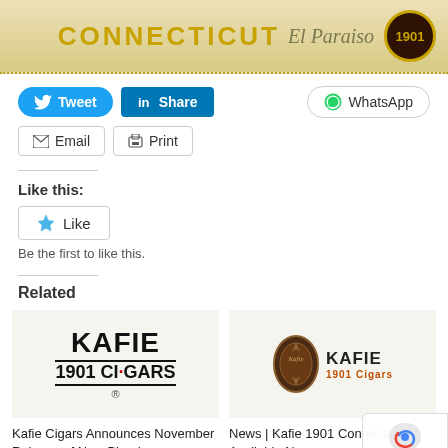[Figure (logo): Banner with text CONNECTICUT El Paraiso and 1901 badge on tan/gold background]
[Figure (infographic): Social sharing buttons: Tweet (Twitter blue), Share (LinkedIn blue), WhatsApp, Email, Print]
Like this:
[Figure (infographic): Like button with blue star icon and text Like]
Be the first to like this.
Related
[Figure (logo): Kafie 1901 Cigars logo - black text on white background]
Kafie Cigars Announces November Release of New Blend
[Figure (logo): Kafie 1901 Cigars logo - dark emblem with brown/gold text]
News | Kafie 1901 Connecticut Available Now